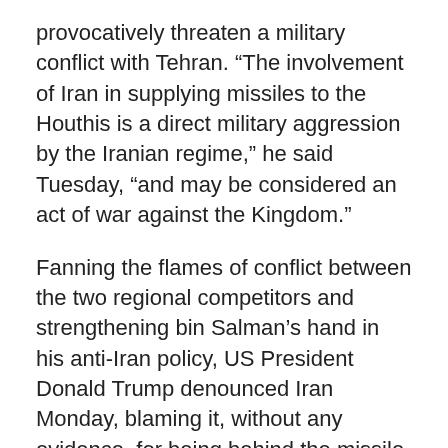provocatively threaten a military conflict with Tehran. “The involvement of Iran in supplying missiles to the Houthis is a direct military aggression by the Iranian regime,” he said Tuesday, “and may be considered an act of war against the Kingdom.”
Fanning the flames of conflict between the two regional competitors and strengthening bin Salman’s hand in his anti-Iran policy, US President Donald Trump denounced Iran Monday, blaming it, without any evidence, for being behind the missile launch. The head of Iran’s Revolutionary Guards responded to Trump’s incendiary allegation by denying Iranian responsibility.
Iranian Foreign Minister Mohammad Javad Zarif